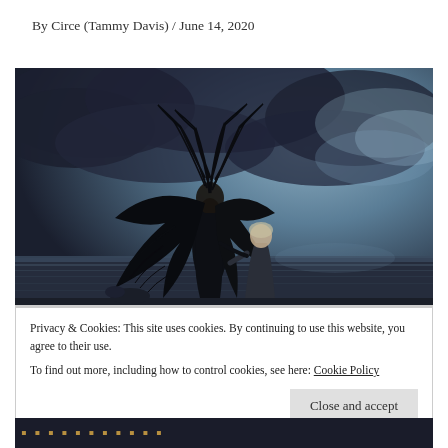By Circe (Tammy Davis) / June 14, 2020
[Figure (photo): Dark fantasy image of a tall figure with large black wings/feathers standing beside a smaller figure (child), both silhouetted against a dramatic stormy sky with low water/ocean horizon. Dark, moody atmosphere with blue-grey tones.]
Privacy & Cookies: This site uses cookies. By continuing to use this website, you agree to their use.
To find out more, including how to control cookies, see here: Cookie Policy
Close and accept